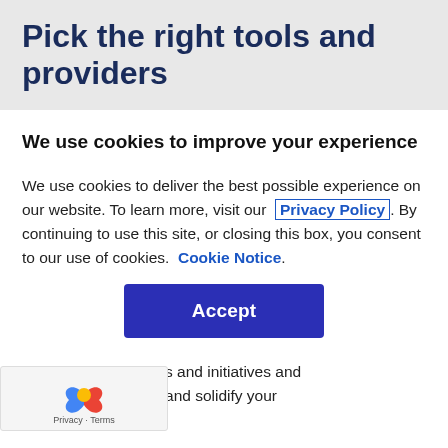Pick the right tools and providers
We use cookies to improve your experience
We use cookies to deliver the best possible experience on our website. To learn more, visit our Privacy Policy. By continuing to use this site, or closing this box, you consent to our use of cookies. Cookie Notice.
Accept
common issues and initiatives and celerate, validate and solidify your ategy.